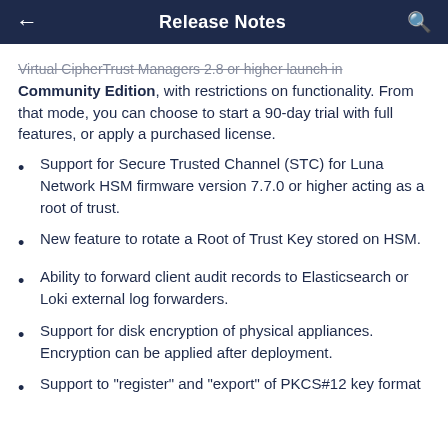Release Notes
Virtual CipherTrust Managers 2.8 or higher launch in Community Edition, with restrictions on functionality. From that mode, you can choose to start a 90-day trial with full features, or apply a purchased license.
Support for Secure Trusted Channel (STC) for Luna Network HSM firmware version 7.7.0 or higher acting as a root of trust.
New feature to rotate a Root of Trust Key stored on HSM.
Ability to forward client audit records to Elasticsearch or Loki external log forwarders.
Support for disk encryption of physical appliances. Encryption can be applied after deployment.
Support to "register" and "export" of PKCS#12 key format